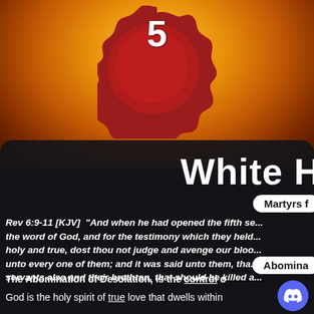[Figure (illustration): Red wax seal with number 5 on a fiery golden/orange cloud background]
White H
Martyrs f
Rev 6:9-11 [KJV]  "And when he had opened the fifth se... the word of God, and for the testimony which they held... holy and true, dost thou not judge and avenge our bloo... unto every one of them; and it was said unto them, tha... servants also and their brethren, that should be killed a...
Abomina
The Abomination of Desolation, is the control o
God is the holy spirit of true love that dwells within